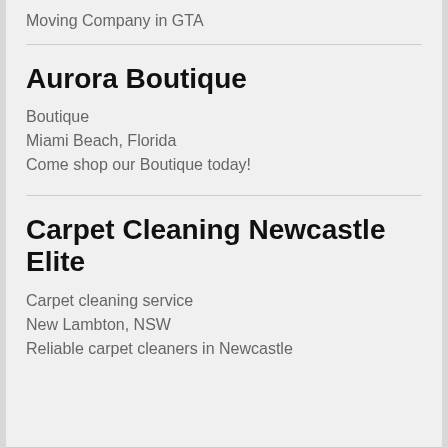Moving Company in GTA
Aurora Boutique
Boutique
Miami Beach, Florida
Come shop our Boutique today!
Carpet Cleaning Newcastle Elite
Carpet cleaning service
New Lambton, NSW
Reliable carpet cleaners in Newcastle